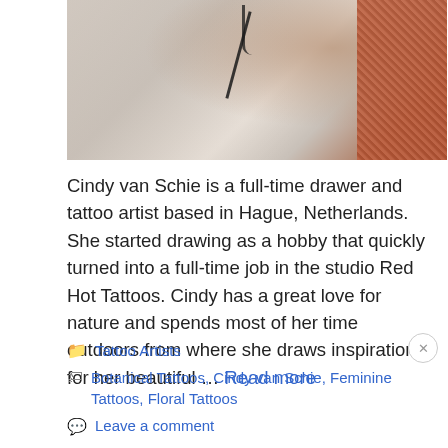[Figure (photo): Close-up photo of a person's arm/wrist with a small tattoo, against a grey background. On the right side there is a red/orange woven textile texture visible.]
Cindy van Schie is a full-time drawer and tattoo artist based in Hague, Netherlands. She started drawing as a hobby that quickly turned into a full-time job in the studio Red Hot Tattoos. Cindy has a great love for nature and spends most of her time outdoors from where she draws inspiration for her beautiful … Read more
Tattoo Artists
Botanical Tattoos, Cindy van Schie, Feminine Tattoos, Floral Tattoos
Leave a comment